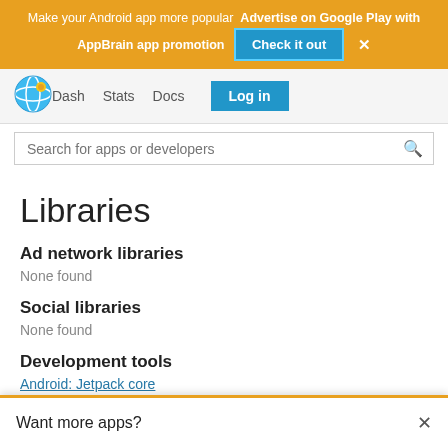Make your Android app more popular  Advertise on Google Play with AppBrain app promotion  [Check it out]  ×
[Figure (logo): AppBrain globe logo icon]
Dash  Stats  Docs  Log in
Search for apps or developers
Libraries
Ad network libraries
None found
Social libraries
None found
Development tools
Android: Jetpack core
Want more apps?  ×